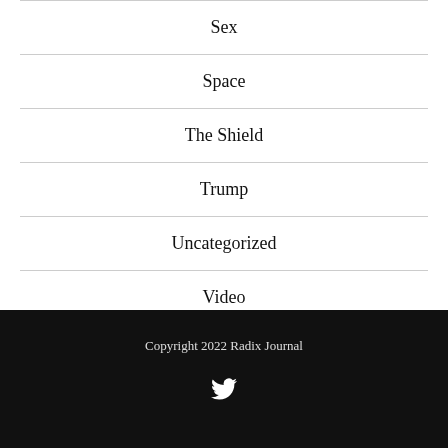Sex
Space
The Shield
Trump
Uncategorized
Video
Copyright 2022 Radix Journal